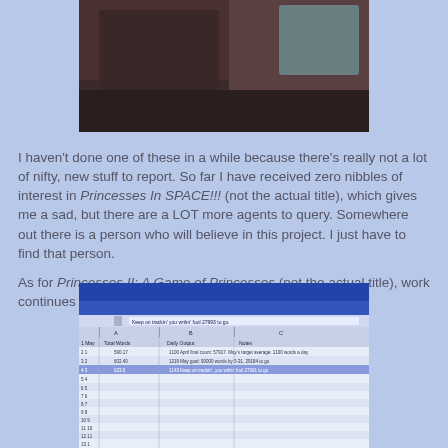[Figure (photo): A partial photograph showing dark fabric/clothing on a light blue background, cropped at top]
I haven't done one of these in a while because there's really not a lot of nifty, new stuff to report. So far I have received zero nibbles of interest in Princesses In SPACE!!! (not the actual title), which gives me a sad, but there are a LOT more agents to query. Somewhere out there is a person who will believe in this project. I just have to find that person.
As for Princesses II: A Game of Princesses (not the actual title), work continues apace.
[Figure (screenshot): A screenshot of a Microsoft Excel spreadsheet tracking word counts and daily output for a writing project, with columns for Day, Total Words, Daily Output, and Notes]